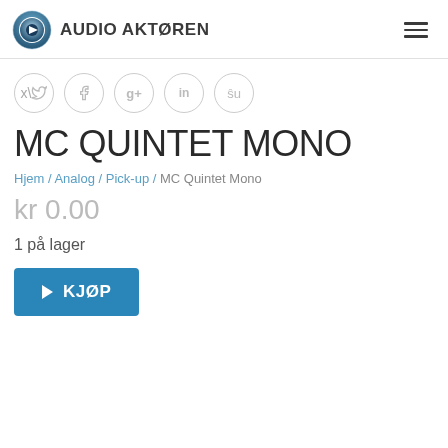AUDIO AKTØREN
[Figure (logo): Audio Aktøren logo with circular play button icon and text AUDIO AKTØREN]
[Figure (infographic): Social media share buttons: Twitter, Facebook, Google+, LinkedIn, StumbleUpon]
MC QUINTET MONO
Hjem / Analog / Pick-up / MC Quintet Mono
kr 0.00
1 på lager
KJØP